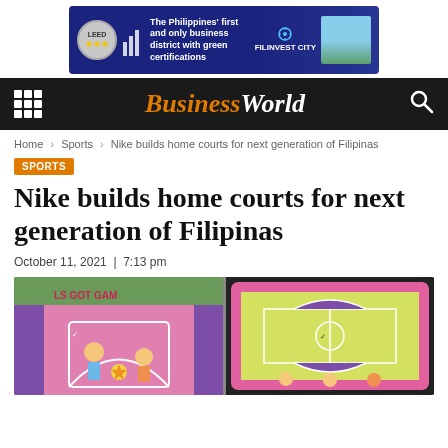[Figure (illustration): Advertisement banner for Filinvest City: The Philippines' first and only business district with green certifications. Features LEED logo with stars, building/design icons, Filinvest City branding, and a city skyline photo.]
BusinessWorld
Home › Sports › Nike builds home courts for next generation of Filipinas
SPORTS
Nike builds home courts for next generation of Filipinas
October 11, 2021 | 7:13 pm
[Figure (photo): Two decorated basketball courts side by side. Left court shows colorful mural with text 'LS GOT GAM' and illustrated female players. Right court shows a colorful basketball court design with yellow, pink, and green sections and illustrated characters.]